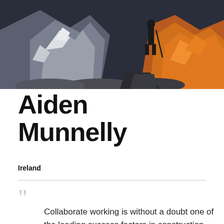[Figure (photo): Person standing on rocky mountain terrain with snow-dusted peaks and warm orange-lit rocks in the background at dusk or dawn]
Aiden Munnelly
Ireland
Collaborate working is without a doubt one of the leading success factors in construction, the module on 'Collaborate